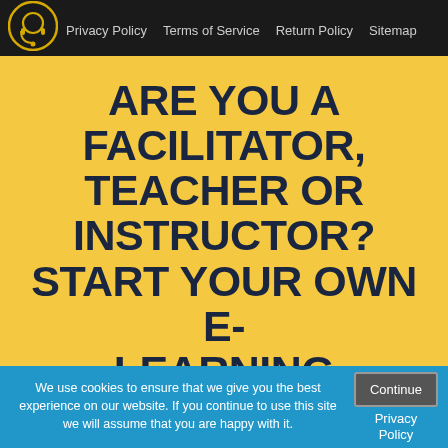Privacy Policy   Terms of Service   Return Policy   Sitemap
ARE YOU A FACILITATOR, TEACHER OR INSTRUCTOR? START YOUR OWN E-LEARNING BUSINESS
Join our online community of Facilitators, Teachers and
We use cookies to ensure that we give you the best experience on our website. If you continue to use this site we will assume that you are happy with it.
Continue
Privacy Policy